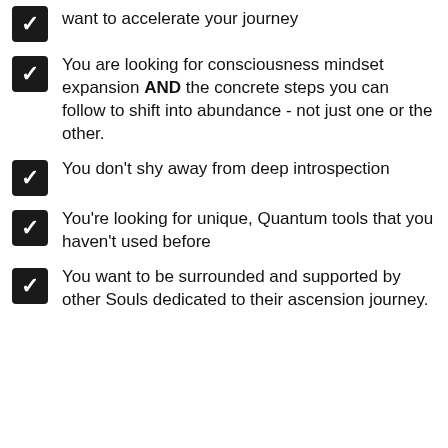want to accelerate your journey
You are looking for consciousness mindset expansion AND the concrete steps you can follow to shift into abundance - not just one or the other.
You don't shy away from deep introspection
You're looking for unique, Quantum tools that you haven't used before
You want to be surrounded and supported by other Souls dedicated to their ascension journey.